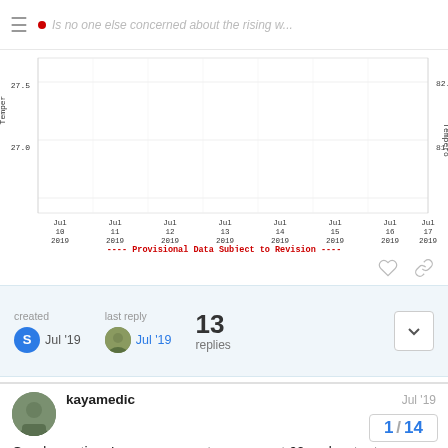Is no one else concerned about the rising w...
[Figure (continuous-plot): Line chart showing temperature data from Jul 10 2019 to Jul 17 2019. Left y-axis shows Temperature from 27.0 to 27.5, right y-axis shows Temperature around 81.0 to 82.0. X-axis labels: Jul 10 2019, Jul 11 2019, Jul 12 2019, Jul 13 2019, Jul 14 2019, Jul 15 2019, Jul 16 2019, Jul 17 2019. Caption reads: ---- Provisional Data Subject to Revision ----]
created
S Jul '19
last reply
Jul '19
13
replies
kayamedic
Jul '19
Good question. In my area sea temps are at 60 and water temps inland lakes are sometimes reaching 70... Algal blooms are non existent. I know that is not true for other areas. Water has a high specific heat. It takes a lot of heat or cooling to change it much. Air ter